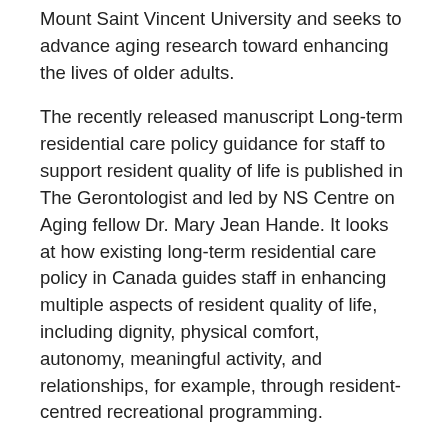Mount Saint Vincent University and seeks to advance aging research toward enhancing the lives of older adults.
The recently released manuscript Long-term residential care policy guidance for staff to support resident quality of life is published in The Gerontologist and led by NS Centre on Aging fellow Dr. Mary Jean Hande. It looks at how existing long-term residential care policy in Canada guides staff in enhancing multiple aspects of resident quality of life, including dignity, physical comfort, autonomy, meaningful activity, and relationships, for example, through resident-centred recreational programming.
“Looking at the broad range of staff-related long-term care regulations in Canada can help us locate promising rules for staff to better enhance resident quality of life. Our research analyzes existing policy in four Canadian provinces that support holistic quality of life for older people in long-term care,” said Dr. Hande.
The study highlights how, in a fiscally constrained, rigidly-regulated LTC setting, leveraging existing policies that support staff flexibility and discretion can enhance resident quality of life. Dr. Janice Keefe, MSVU professor, Director of the NS Centre on Aging and co-author of the study suggests this approach to policy